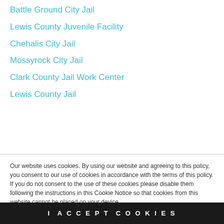Battle Ground City Jail
Lewis County Juvenile Facility
Chehalis City Jail
Mossyrock City Jail
Clark County Jail Work Center
Lewis County Jail
Our website uses cookies. By using our website and agreeing to this policy, you consent to our use of cookies in accordance with the terms of this policy. If you do not consent to the use of these cookies please disable them following the instructions in this Cookie Notice so that cookies from this website cannot be placed on your device.
I ACCEPT COOKIES